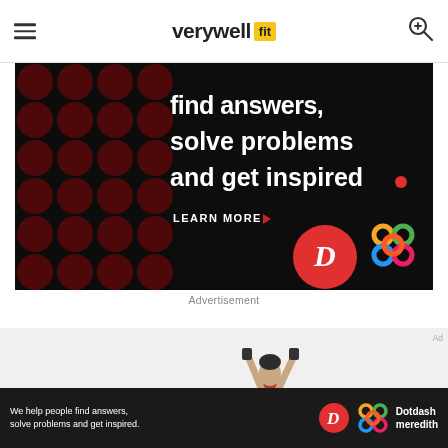verywell fit
[Figure (photo): Dark advertisement banner with text 'find answers, solve problems and get inspired.' with LEARN MORE button and Dotdash/Meredith logos on black background with dark red polka dot pattern]
Advertisement
[Figure (photo): Light grey content area with partial image of a person in red clothing doing an overhead exercise with weights]
[Figure (photo): Bottom advertisement bar: 'We help people find answers, solve problems and get inspired.' with Dotdash Meredith branding]